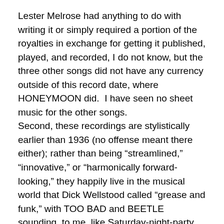Lester Melrose had anything to do with writing it or simply required a portion of the royalties in exchange for getting it published, played, and recorded, I do not know, but the three other songs did not have any currency outside of this record date, where HONEYMOON did.  I have seen no sheet music for the other songs.
Second, these recordings are stylistically earlier than 1936 (no offense meant there either); rather than being “streamlined,” “innovative,” or “harmonically forward-looking,” they happily live in the musical world that Dick Wellstood called “grease and funk,” with TOO BAD and BEETLE sounding, to me, like Saturday-night-party music.  The closest parallel in jazz is the long series of Clarence Williams recordings, but these sides are genuine crossover music before the name ever emerged, with sideways connections to blues and roots music.